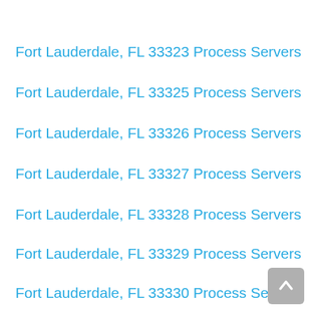Fort Lauderdale, FL 33323 Process Servers
Fort Lauderdale, FL 33325 Process Servers
Fort Lauderdale, FL 33326 Process Servers
Fort Lauderdale, FL 33327 Process Servers
Fort Lauderdale, FL 33328 Process Servers
Fort Lauderdale, FL 33329 Process Servers
Fort Lauderdale, FL 33330 Process Servers